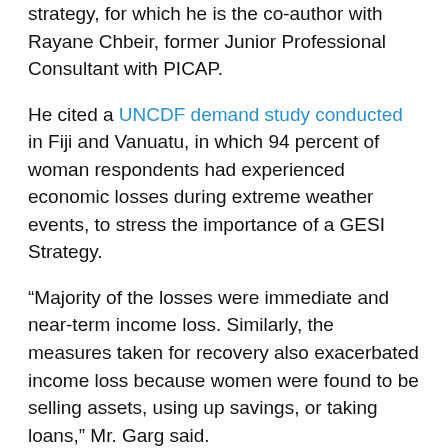strategy, for which he is the co-author with Rayane Chbeir, former Junior Professional Consultant with PICAP.
He cited a UNCDF demand study conducted in Fiji and Vanuatu, in which 94 percent of woman respondents had experienced economic losses during extreme weather events, to stress the importance of a GESI Strategy.
“Majority of the losses were immediate and near-term income loss. Similarly, the measures taken for recovery also exacerbated income loss because women were found to be selling assets, using up savings, or taking loans,” Mr. Garg said.
Gender equality, a driver of growth, development and prosperity